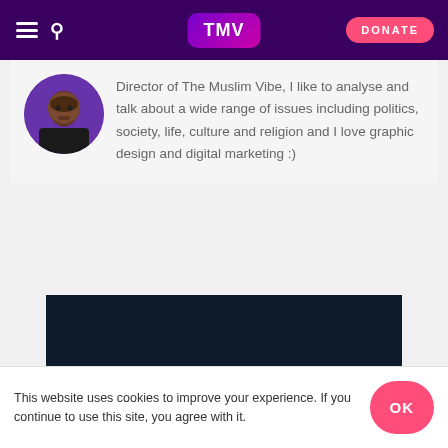TMV | DONATE
Director of The Muslim Vibe, I like to analyse and talk about a wide range of issues including politics, society, life, culture and religion and I love graphic design and digital marketing :)
[Figure (photo): Dark navy blue rectangular video embed area]
This website uses cookies to improve your experience. If you continue to use this site, you agree with it.